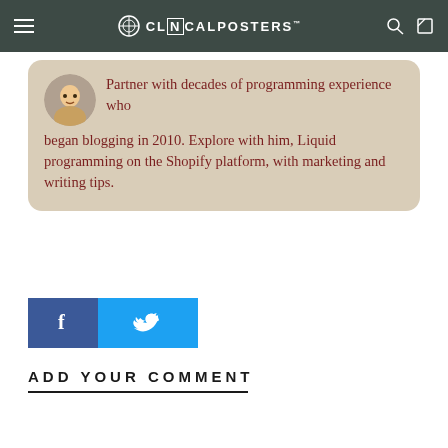CL[N]CALPOSTERS
Partner with decades of programming experience who began blogging in 2010. Explore with him, Liquid programming on the Shopify platform, with marketing and writing tips.
[Figure (other): Facebook and Twitter share buttons side by side]
ADD YOUR COMMENT